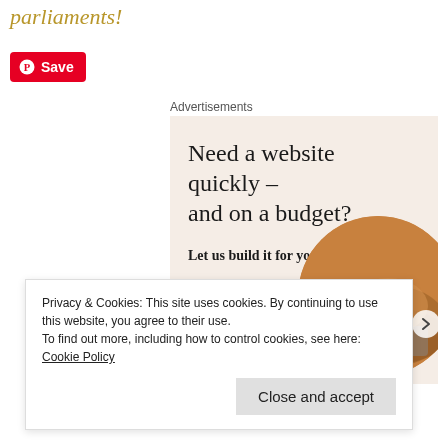parliaments!
[Figure (other): Pinterest Save button with red background]
Advertisements
[Figure (infographic): Advertisement: Need a website quickly – and on a budget? Let us build it for you. Button: Let's get started. WordPress logo at bottom. Image of person typing on laptop.]
Privacy & Cookies: This site uses cookies. By continuing to use this website, you agree to their use.
To find out more, including how to control cookies, see here: Cookie Policy
Close and accept